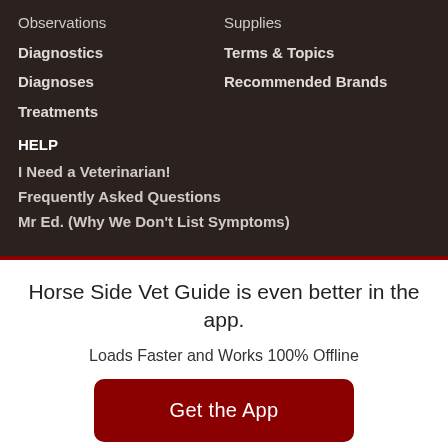Observations
Supplies
Diagnostics
Terms & Topics
Diagnoses
Recommended Brands
Treatments
HELP
I Need a Veterinarian!
Frequently Asked Questions
Mr Ed. (Why We Don't List Symptoms)
Horse Side Vet Guide is even better in the app.
Loads Faster and Works 100% Offline
Get the App
or continue to mobile site